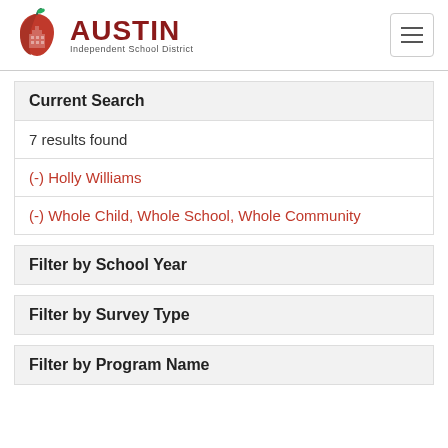AUSTIN Independent School District
Current Search
7 results found
(-) Holly Williams
(-) Whole Child, Whole School, Whole Community
Filter by School Year
Filter by Survey Type
Filter by Program Name